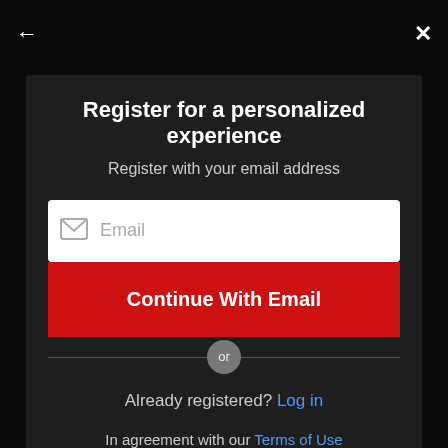Register for a personalized experience
Register with your email address
Email
Continue With Email
or
Already registered? Log in
In agreement with our Terms of Use and Privacy Policy